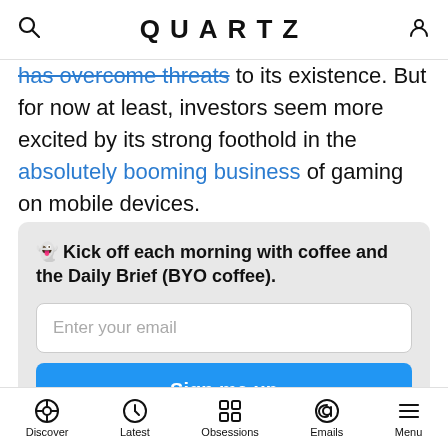QUARTZ
the first time it has overcome threats to its existence. But for now at least, investors seem more excited by its strong foothold in the absolutely booming business of gaming on mobile devices.
👻 Kick off each morning with coffee and the Daily Brief (BYO coffee).
Enter your email
Sign me up
By providing your email, you agree to the Quartz Privacy Policy.
Discover  Latest  Obsessions  Emails  Menu